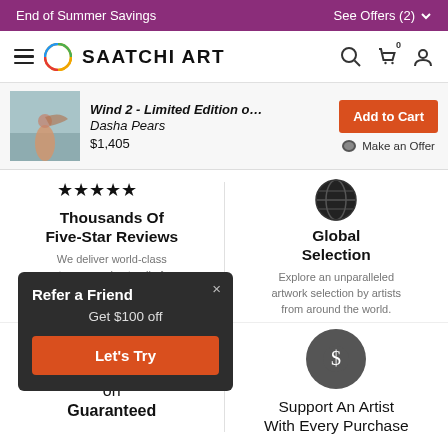End of Summer Savings   See Offers (2)
[Figure (logo): Saatchi Art logo with circular gradient icon and bold SAATCHI ART wordmark, hamburger menu, search, cart, and user icons]
[Figure (screenshot): Product bar: Wind 2 - Limited Edition o... by Dasha Pears, $1,405 with Add to Cart and Make an Offer buttons, small artwork thumbnail]
Thousands Of Five-Star Reviews
We deliver world-class customer service to all of our art buyers.
Global Selection
Explore an unparalleled artwork selection by artists from around the world.
[Figure (infographic): Popup overlay: Refer a Friend, Get $100 off, Let's Try button (orange), close X]
[Figure (infographic): Dark circle with dollar sign icon]
Support An Artist With Every Purchase
Satisfaction Guaranteed